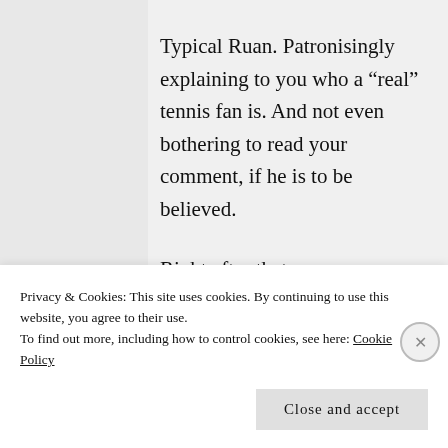Typical Ruan. Patronisingly explaining to you who a “real” tennis fan is. And not even bothering to read your comment, if he is to be believed.
Right after that, a guy basically fawns over him and he’s like “Good...
Privacy & Cookies: This site uses cookies. By continuing to use this website, you agree to their use.
To find out more, including how to control cookies, see here: Cookie Policy